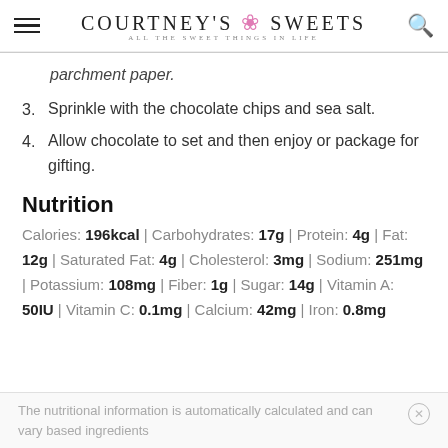COURTNEY'S SWEETS — ALL THE SWEET THINGS IN LIFE
parchment paper.
3. Sprinkle with the chocolate chips and sea salt.
4. Allow chocolate to set and then enjoy or package for gifting.
Nutrition
Calories: 196kcal | Carbohydrates: 17g | Protein: 4g | Fat: 12g | Saturated Fat: 4g | Cholesterol: 3mg | Sodium: 251mg | Potassium: 108mg | Fiber: 1g | Sugar: 14g | Vitamin A: 50IU | Vitamin C: 0.1mg | Calcium: 42mg | Iron: 0.8mg
The nutritional information is automatically calculated and can vary based ingredients